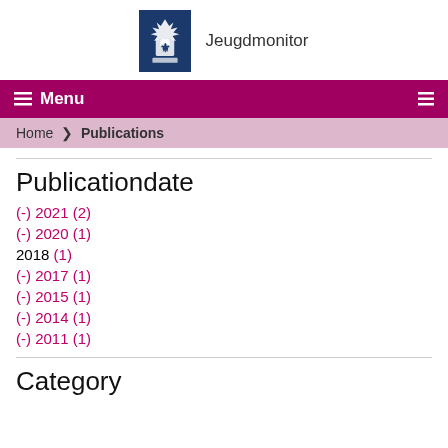Jeugdmonitor
☰ Menu
Home ❯ Publications
Publicationdate
(-) 2021 (2)
(-) 2020 (1)
2018 (1)
(-) 2017 (1)
(-) 2015 (1)
(-) 2014 (1)
(-) 2011 (1)
Category